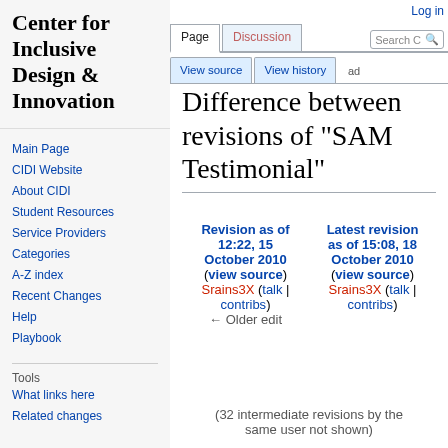Center for Inclusive Design & Innovation
Main Page
CIDI Website
About CIDI
Student Resources
Service Providers
Categories
A-Z index
Recent Changes
Help
Playbook
Tools
What links here
Related changes
Log in
Difference between revisions of "SAM Testimonial"
| Revision as of 12:22, 15 October 2010 (view source) | Latest revision as of 15:08, 18 October 2010 (view source) |
| --- | --- |
| Srains3X (talk | contribs) | Srains3X (talk | contribs) |
| ← Older edit |  |
(32 intermediate revisions by the same user not shown)